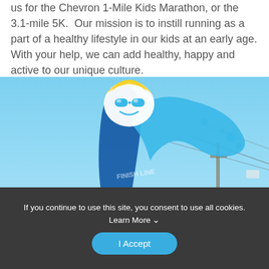us for the Chevron 1-Mile Kids Marathon, or the 3.1-mile 5K.  Our mission is to instill running as a part of a healthy lifestyle in our kids at an early age. With your help, we can add healthy, happy and active to our unique culture.
[Figure (photo): Outdoor photo of a large colorful cartoon character sculpture/sign with blue and yellow design elements (resembling a wave or splash with a face wearing goggles and a hat), set against a clear blue sky with utility poles visible in the background.]
If you continue to use this site, you consent to use all cookies. Learn More ∨
I Accept